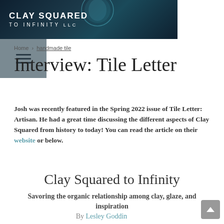CLAY SQUARED TO INFINITY LLC
Home › handmade tile
Interview: Tile Letter
Josh was recently featured in the Spring 2022 issue of Tile Letter: Artisan. He had a great time discussing the different aspects of Clay Squared from history to today! You can read the article on their website or below.
Clay Squared to Infinity
Savoring the organic relationship among clay, glaze, and inspiration
By Lesley Goddin